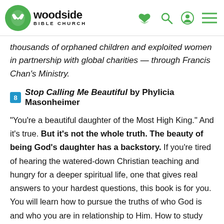Woodside Bible Church
thousands of orphaned children and exploited women in partnership with global charities — through Francis Chan's Ministry.
8 Stop Calling Me Beautiful by Phylicia Masonheimer
“You’re a beautiful daughter of the Most High King.” And it’s true. But it’s not the whole truth. The beauty of being God’s daughter has a backstory. If you’re tired of hearing the watered-down Christian teaching and hungry for a deeper spiritual life, one that gives real answers to your hardest questions, this book is for you. You will learn how to pursue the truths of who God is and who you are in relationship to Him. How to study Scripture, and how your view of God determines how